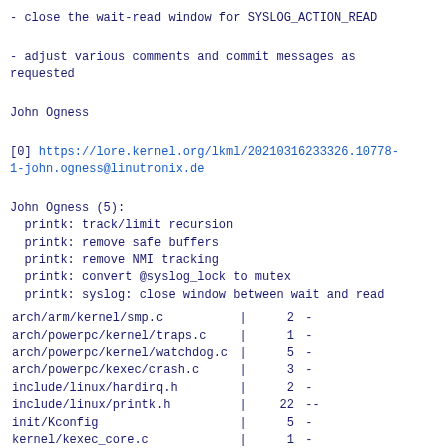- close the wait-read window for SYSLOG_ACTION_READ
- adjust various comments and commit messages as requested
John Ogness
[0] https://lore.kernel.org/lkml/20210316233326.10778-1-john.ogness@linutronix.de
John Ogness (5):
  printk: track/limit recursion
  printk: remove safe buffers
  printk: remove NMI tracking
  printk: convert @syslog_lock to mutex
  printk: syslog: close window between wait and read
| file | | | count | diff |
| --- | --- | --- | --- |
| arch/arm/kernel/smp.c | | | 2 | - |
| arch/powerpc/kernel/traps.c | | | 1 | - |
| arch/powerpc/kernel/watchdog.c | | | 5 | - |
| arch/powerpc/kexec/crash.c | | | 3 | - |
| include/linux/hardirq.h | | | 2 | - |
| include/linux/printk.h | | | 22 | -- |
| init/Kconfig | | | 5 | - |
| kernel/kexec_core.c | | | 1 | - |
| kernel/panic.c | | | 3 | - |
| kernel/printk/internal.h | | | 23 | --- |
| kernel/printk/printk.c | | | 281 | +++++++++++++++-- |
| -------- |  |  |  |
| kernel/printk/printk_safe.c | | | 362 | +-------------... |